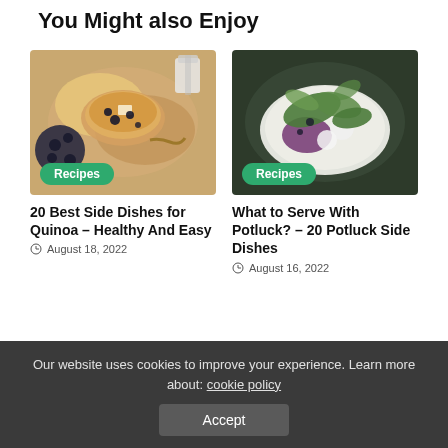You Might also Enjoy
[Figure (photo): Overhead view of blueberry pancakes with butter and syrup, with blueberries on the side]
[Figure (photo): Plated green salad with beets, mozzarella and walnuts on a white plate]
20 Best Side Dishes for Quinoa – Healthy And Easy
What to Serve With Potluck? – 20 Potluck Side Dishes
August 18, 2022
August 16, 2022
[Figure (photo): Salmon dish with dill and tomato sauce]
[Figure (photo): Roasted meat on a plate with fork and knife]
Our website uses cookies to improve your experience. Learn more about: cookie policy